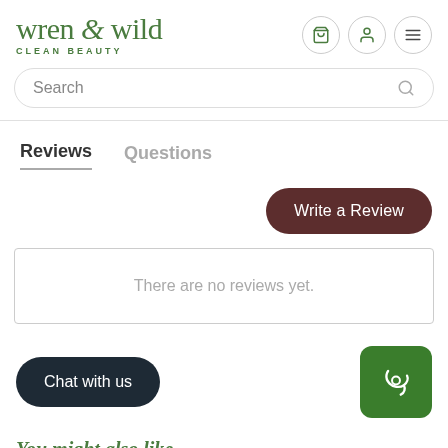wren & wild CLEAN BEAUTY
Search
Reviews
Questions
Write a Review
There are no reviews yet.
Chat with us
You might also like